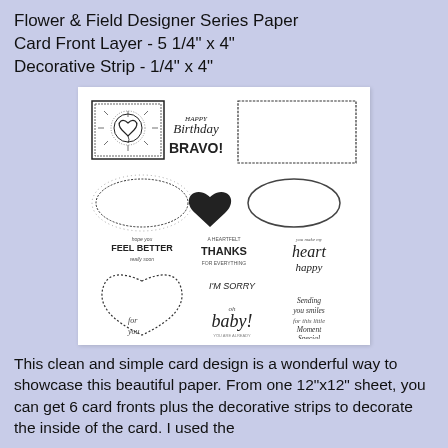Flower & Field Designer Series Paper
Card Front Layer - 5 1/4" x 4"
Decorative Strip - 1/4" x 4"
[Figure (illustration): Stampin' Up! stamp set showing various stamps: a heart balloon in a sunburst frame, Happy Birthday text, Bravo! text, a postage stamp frame, decorative oval frames, a solid heart, sentiment stamps (Feel Better, Thanks, heart happy, I'm Sorry, oh baby!, Sending you smiles), a heart outline frame, and 'for you' text. Copyright Stampin' Up! shown at bottom.]
This clean and simple card design is a wonderful way to showcase this beautiful paper. From one 12"x12" sheet, you can get 6 card fronts plus the decorative strips to decorate the inside of the card. I used the